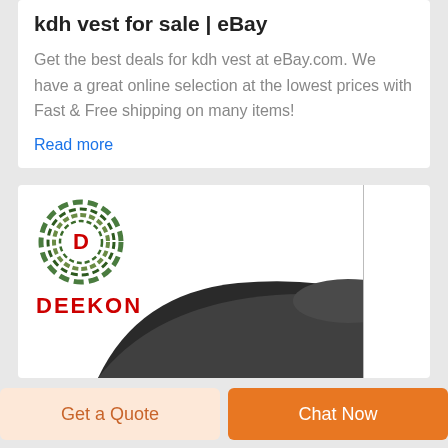kdh vest for sale | eBay
Get the best deals for kdh vest at eBay.com. We have a great online selection at the lowest prices with Fast & Free shipping on many items!
Read more
[Figure (logo): DEEKON brand logo with camouflage circular emblem containing letter D, and bold red DEEKON text below]
[Figure (photo): Dark tactical/ballistic vest product photo showing curved shoulder area against white background]
Get a Quote
Chat Now